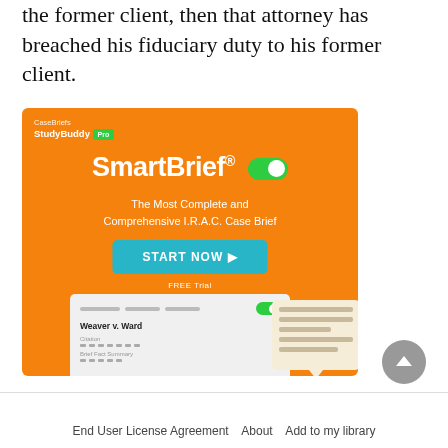the former client, then that attorney has breached his fiduciary duty to his former client.
[Figure (infographic): CaseBriefs StudyBuddy Pro advertisement for SmartBrief — The Most Complete and Comprehensive I.R.A.C. Case Brief. Features a START NOW button, FREE Trial label, and a mockup showing 'Weaver v. Ward' case brief interface with a speech bubble tooltip. Orange background.]
End User License Agreement   About   Add to my library